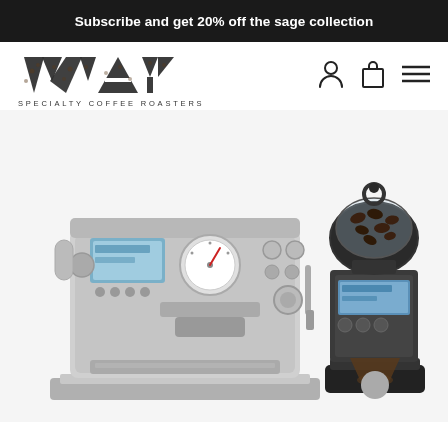Subscribe and get 20% off the sage collection
[Figure (logo): WAY Specialty Coffee Roasters logo with stylized W, A, Y letters made from coffee bean triangles]
[Figure (photo): Sage espresso machine (stainless steel, with LCD display and pressure gauge) alongside a Sage coffee grinder (with glass bean hopper and LCD display), both on white background]